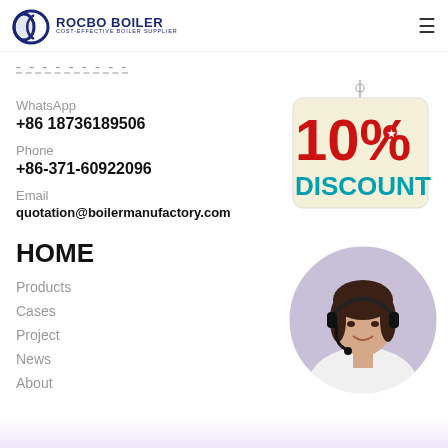ROCBO BOILER — COST-EFFECTIVE BOILER SUPPLIER
Contact Us
WhatsApp
+86 18736189506
Phone
+86-371-60922096
Email
quotation@boilermanufactory.com
HOME
Products
Cases
Project
News
About
[Figure (illustration): 10% Discount hanging sign with creamy background, red 10% text and teal DISCOUNT text]
[Figure (photo): Customer service agent woman wearing headset, smiling, circular crop photo]